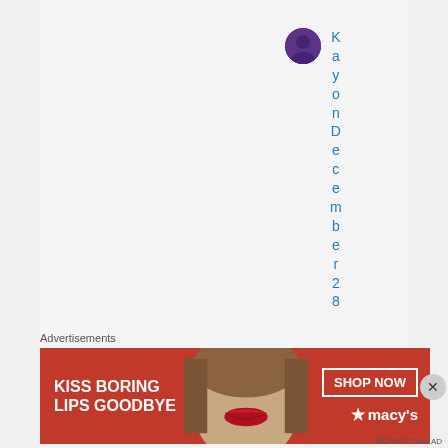[Figure (photo): Small circular avatar photo of a person with purple/dark background, positioned top center-right area]
Kayon December 28
Advertisements
[Figure (photo): Advertisement banner for Macy's with red background, woman's face with red lips, text 'KISS BORING LIPS GOODBYE' and 'SHOP NOW' button with Macy's star logo]